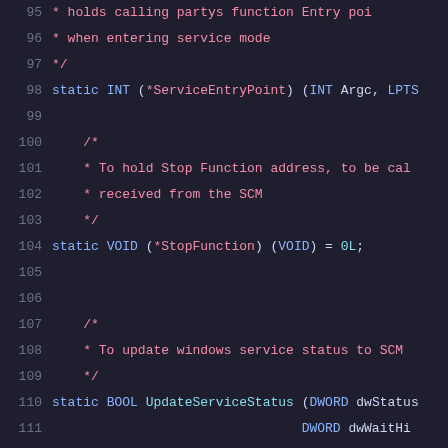[Figure (screenshot): Source code listing in a dark-themed code editor showing C/C++ code lines 95-116 with syntax highlighting. Line numbers in gray, keywords in blue, comments in red/pink, function names in cyan.]